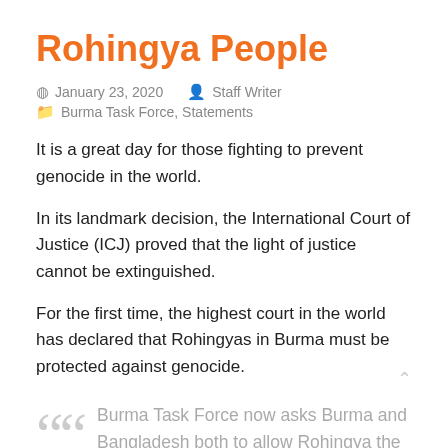Rohingya People
January 23, 2020   Staff Writer
Burma Task Force, Statements
It is a great day for those fighting to prevent genocide in the world.
In its landmark decision, the International Court of Justice (ICJ) proved that the light of justice cannot be extinguished.
For the first time, the highest court in the world has declared that Rohingyas in Burma must be protected against genocide.
Burma Task Force now asks Burma and Bangladesh both to allow Rohingya the right to education, the right to earn a living